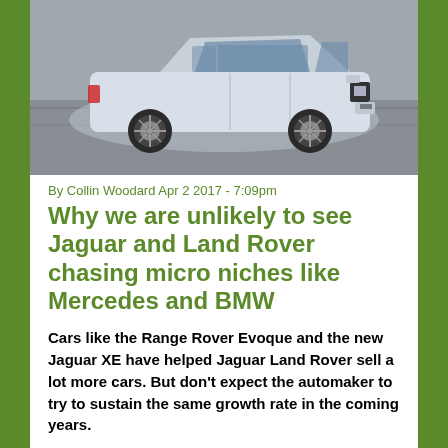[Figure (photo): A silver Jaguar F-Pace SUV photographed in motion from the side, against a concrete wall background.]
By Collin Woodard Apr 2 2017 - 7:09pm
Why we are unlikely to see Jaguar and Land Rover chasing micro niches like Mercedes and BMW
Cars like the Range Rover Evoque and the new Jaguar XE have helped Jaguar Land Rover sell a lot more cars. But don't expect the automaker to try to sustain the same growth rate in the coming years.
Read more »